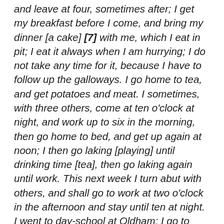and leave at four, sometimes after; I get my breakfast before I come, and bring my dinner [a cake] [7] with me, which I eat in pit; I eat it always when I am hurrying; I do not take any time for it, because I have to follow up the galloways. I go home to tea, and get potatoes and meat. I sometimes, with three others, come at ten o'clock at night, and work up to six in the morning, then go home to bed, and get up again at noon; I then go laking [playing] until drinking time [tea], then go laking again until work. This next week I turn abut with others, and shall go to work at two o'clock in the afternoon and stay until ten at night. I went to day-school at Oldham; I go to Sunday-school now; I cannot read or write; I work with all my clothes off except my vest; my feet are pretty sound now, but I hurt them by treading 'top of the coals, which run into them and makes them sore. I never met with any accident in pit. I have